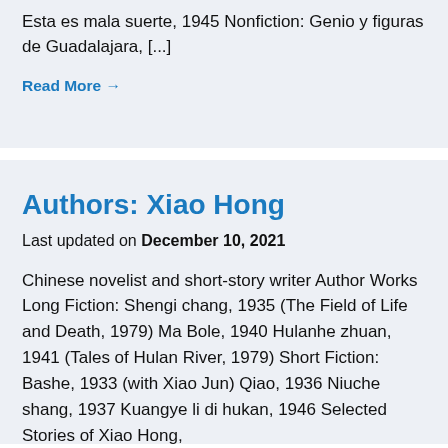Esta es mala suerte, 1945 Nonfiction: Genio y figuras de Guadalajara, [...]
Read More →
Authors: Xiao Hong
Last updated on December 10, 2021
Chinese novelist and short-story writer Author Works Long Fiction: Shengi chang, 1935 (The Field of Life and Death, 1979) Ma Bole, 1940 Hulanhe zhuan, 1941 (Tales of Hulan River, 1979) Short Fiction: Bashe, 1933 (with Xiao Jun) Qiao, 1936 Niuche shang, 1937 Kuangye li di hukan, 1946 Selected Stories of Xiao Hong,